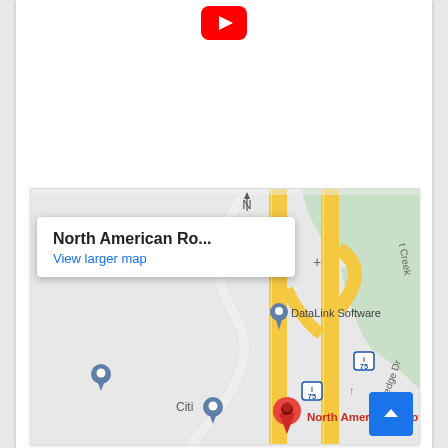[Figure (logo): YouTube logo icon — red rounded square with white play triangle]
[Figure (map): Google Maps embed showing North American Roofing location near Interstate 75, with streets including Riveredge Dr, location pins for DataLink Software, Citi, and a red map pin for North American Roofing. A popup overlay reads 'North American Ro...' with 'View larger map' link. A blue scroll-to-top button is in the bottom-right corner.]